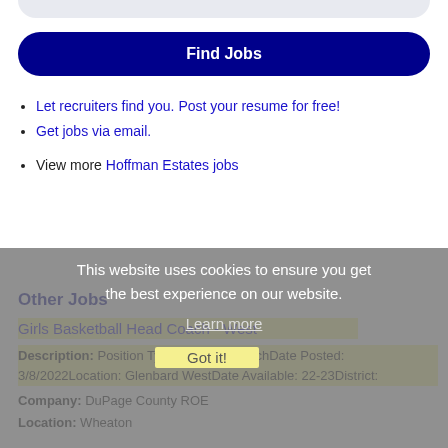[Figure (other): Top rounded gray bar (browser UI element)]
Find Jobs
Let recruiters find you. Post your resume for free!
Get jobs via email.
View more Hoffman Estates jobs
This website uses cookies to ensure you get the best experience on our website.
Learn more
Other Jobs
Girls Basketball Head Coach - West
Description: Position Type:Athletics/CoachDate Posted: 3/8/2022Location: Glenbard WestDate Available: 22-23District:
Got it!
Company: DuPage County ROE
Location: Wheaton